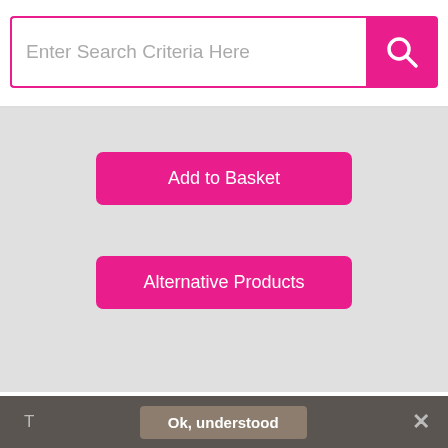[Figure (screenshot): Search bar with pink search button and magnifying glass icon]
[Figure (screenshot): Gray product area with two pink buttons: 'Add to Basket' and 'Alternative Products']
Description
Cream Manilla premium envelope available in a 140gsm 450x324mm Peel & seal pocket. Suitable for business correspondence, invoices, statements, catalogues and much more!
Product Details
Ok, understood